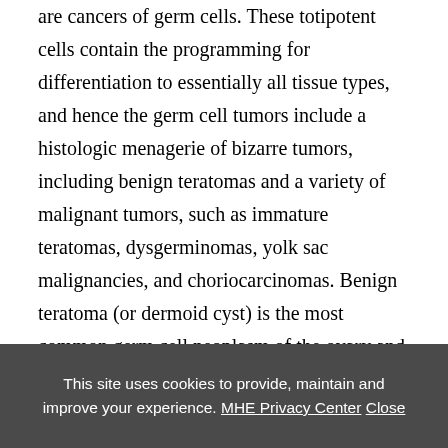are cancers of germ cells. These totipotent cells contain the programming for differentiation to essentially all tissue types, and hence the germ cell tumors include a histologic menagerie of bizarre tumors, including benign teratomas and a variety of malignant tumors, such as immature teratomas, dysgerminomas, yolk sac malignancies, and choriocarcinomas. Benign teratoma (or dermoid cyst) is the most common germ cell neoplasm of the ovary and often presents in young woman. These tumors
This site uses cookies to provide, maintain and improve your experience. MHE Privacy Center Close